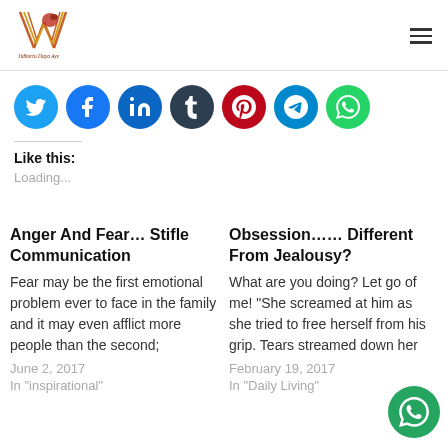Warriorit — Jidbortu Daya Aye (logo and navigation)
[Figure (infographic): Row of 7 social media share icons: Twitter (blue), Facebook (blue), LinkedIn (blue), Tumblr (dark), Pinterest (red), Telegram (blue), WhatsApp (green)]
Like this:
Loading...
Anger And Fear… Stifle Communication
Fear may be the first emotional problem ever to face in the family and it may even afflict more people than the second;
June 2, 2017
In "inspirational"
Obsession…… Different From Jealousy?
What are you doing? Let go of me! "She screamed at him as she tried to free herself from his grip. Tears streamed down her
February 19, 2017
In "Daily Living"